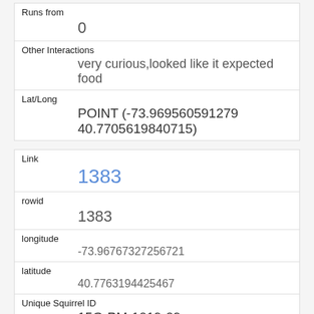| Runs from | 0 |
| Other Interactions | very curious,looked like it expected food |
| Lat/Long | POINT (-73.969560591279 40.7705619840715) |
| Link | 1383 |
| rowid | 1383 |
| longitude | -73.96767327256721 |
| latitude | 40.7763194425467 |
| Unique Squirrel ID | 15G-PM-1019-09 |
| Hectare | 15G |
| Shift |  |